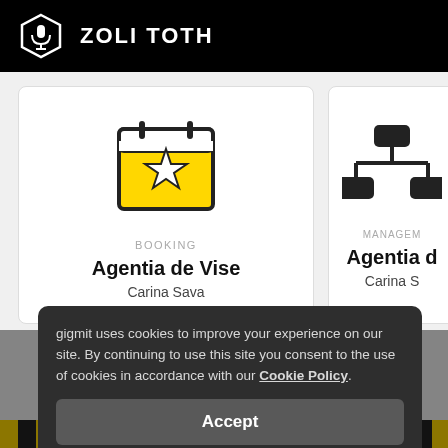ZOLI TOTH
[Figure (screenshot): Card with yellow star calendar icon, label BOOKING, title Agentia de Vise, subtitle Carina Sava]
BOOKING
Agentia de Vise
Carina Sava
[Figure (screenshot): Partial card with network/management icon, label MANAGEMENT, title Agentia d..., subtitle Carina S...]
MANAGEMENT
Agentia d
Carina S
gigmit uses cookies to improve your experience on our site. By continuing to use this site you consent to the use of cookies in accordance with our Cookie Policy.
Accept